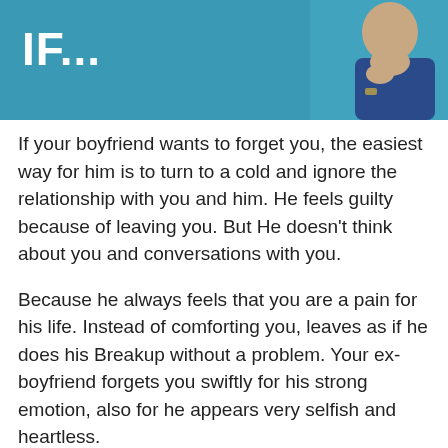[Figure (photo): Header banner with teal/blue background showing text 'IF...' in white bold letters on the left, and a partial image of a person on the right side]
If your boyfriend wants to forget you, the easiest way for him is to turn to a cold and ignore the relationship with you and him. He feels guilty because of leaving you. But He doesn't think about you and conversations with you.
Because he always feels that you are a pain for his life. Instead of comforting you, leaves as if he does his Breakup without a problem. Your ex-boyfriend forgets you swiftly for his strong emotion, also for he appears very selfish and heartless.